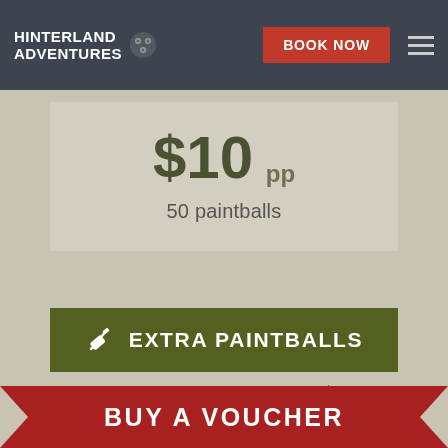HINTERLAND ADVENTURES | BOOK NOW
$10 pp
50 paintballs
EXTRA PAINTBALLS
MORE PRICING OPTIONS ▶
BOOK NOW ▶
BUY A VOUCHER